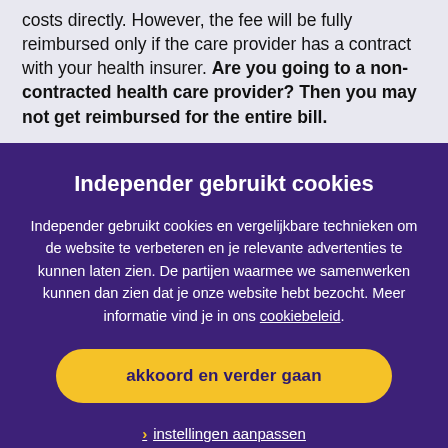costs directly. However, the fee will be fully reimbursed only if the care provider has a contract with your health insurer. Are you going to a non-contracted health care provider? Then you may not get reimbursed for the entire bill.
Independer gebruikt cookies
Independer gebruikt cookies en vergelijkbare technieken om de website te verbeteren en je relevante advertenties te kunnen laten zien. De partijen waarmee we samenwerken kunnen dan zien dat je onze website hebt bezocht. Meer informatie vind je in ons cookiebeleid.
akkoord en verder gaan
instellingen aanpassen